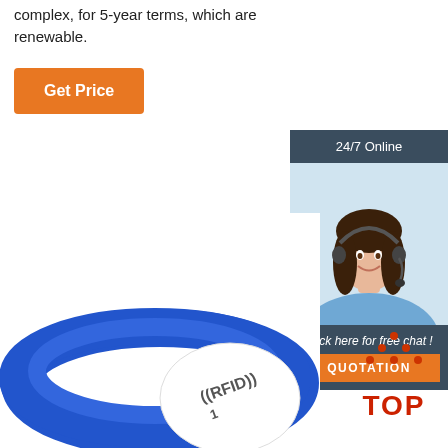complex, for 5-year terms, which are renewable.
Get Price
24/7 Online
[Figure (photo): Customer service representative woman with headset smiling]
Click here for free chat !
QUOTATION
[Figure (photo): Blue RFID silicone wristband with white center disc labeled RFID]
[Figure (illustration): TOP badge with red dots arranged in triangle shape above red TOP text]